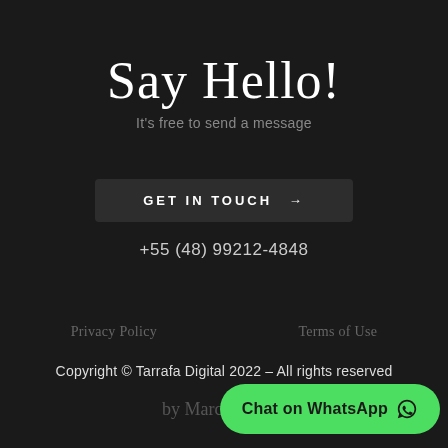Say Hello!
It's free to send a message
GET IN TOUCH →
+55 (48) 99212-4848
Privacy Policy
Terms of Use
Copyright © Tarrafa Digital 2022 – All rights reserved
by Marcelo Ro
Chat on WhatsApp 🅂